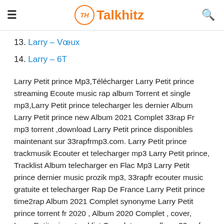Talkhitz
13. Larry – Vœux
14. Larry – 6T
Larry Petit prince Mp3,Télécharger Larry Petit prince streaming Ecoute music rap album Torrent et single mp3,Larry Petit prince telecharger les dernier Album Larry Petit prince new Album 2021 Complet 33rap Fr mp3 torrent ,download Larry Petit prince disponibles maintenant sur 33rapfrmp3.com. Larry Petit prince trackmusik Ecouter et telecharger mp3 Larry Petit prince, Tracklist Album telecharger en Flac Mp3 Larry Petit prince dernier music prozik mp3, 33rapfr ecouter music gratuite et telecharger Rap De France Larry Petit prince time2rap Album 2021 Complet synonyme Larry Petit prince torrent fr 2020 , Album 2020 Complet , cover, Larry Petit prince tracklist Complet cover album 33rapfr Larry Petit